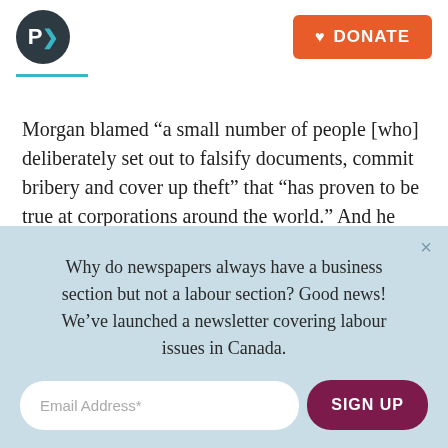P> | DONATE
Morgan blamed “a small number of people [who] deliberately set out to falsify documents, commit bribery and cover up theft” that “has proven to be true at corporations around the world.” And he stands firm that SNC-Lavalin’s board was “perhaps the most diligent I have ever seen.”
So the irk...Morgan’s SNC-Lavali...
Why do newspapers always have a business section but not a labour section? Good news! We’ve launched a newsletter covering labour issues in Canada.
Email Address* | SIGN UP